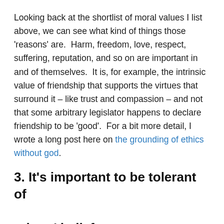Looking back at the shortlist of moral values I list above, we can see what kind of things those 'reasons' are.  Harm, freedom, love, respect, suffering, reputation, and so on are important in and of themselves.  It is, for example, the intrinsic value of friendship that supports the virtues that surround it – like trust and compassion – and not that some arbitrary legislator happens to declare friendship to be 'good'.  For a bit more detail, I wrote a long post here on the grounding of ethics without god.
3. It's important to be tolerant of others' beliefs.
If you claim morality is absolute then you are being intolerant of other people's beliefs.  This leads to